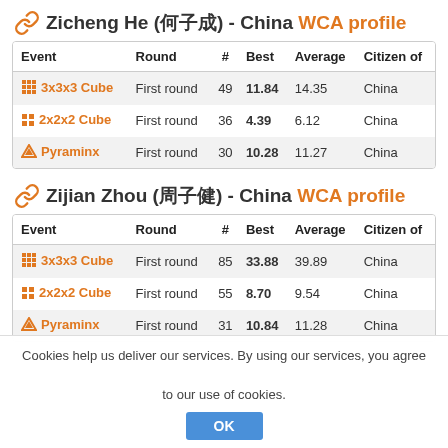Zicheng He (何子成) - China WCA profile
| Event | Round | # | Best | Average | Citizen of |
| --- | --- | --- | --- | --- | --- |
| 3x3x3 Cube | First round | 49 | 11.84 | 14.35 | China |
| 2x2x2 Cube | First round | 36 | 4.39 | 6.12 | China |
| Pyraminx | First round | 30 | 10.28 | 11.27 | China |
Zijian Zhou (周子健) - China WCA profile
| Event | Round | # | Best | Average | Citizen of |
| --- | --- | --- | --- | --- | --- |
| 3x3x3 Cube | First round | 85 | 33.88 | 39.89 | China |
| 2x2x2 Cube | First round | 55 | 8.70 | 9.54 | China |
| Pyraminx | First round | 31 | 10.84 | 11.28 | China |
Cookies help us deliver our services. By using our services, you agree to our use of cookies.